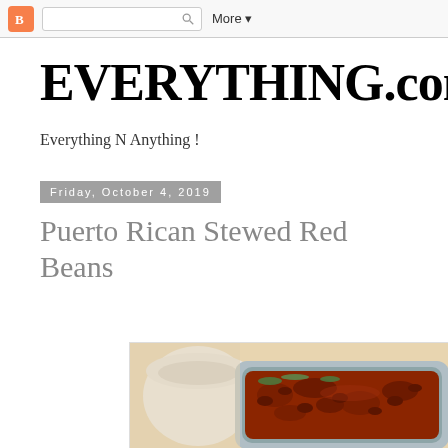Blogger navigation bar with search and More button
EVERYTHING.com
Everything N Anything !
Friday, October 4, 2019
Puerto Rican Stewed Red Beans
[Figure (photo): Photo of Puerto Rican stewed red beans in a white bowl, showing a dark red bean stew garnished with green herbs, with a white ceramic pot in the background]